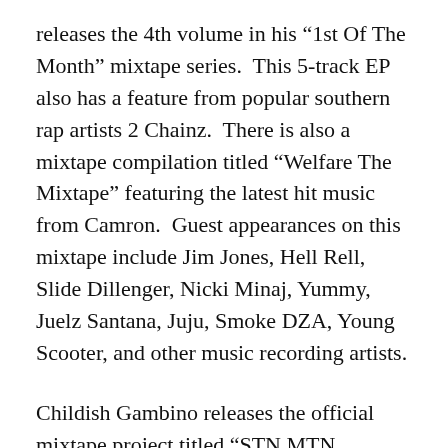releases the 4th volume in his “1st Of The Month” mixtape series.  This 5-track EP also has a feature from popular southern rap artists 2 Chainz.  There is also a mixtape compilation titled “Welfare The Mixtape” featuring the latest hit music from Camron.  Guest appearances on this mixtape include Jim Jones, Hell Rell, Slide Dillenger, Nicki Minaj, Yummy, Juelz Santana, Juju, Smoke DZA, Young Scooter, and other music recording artists.
Childish Gambino releases the official mixtape project titled “STN MTN Kauai”.  Featured alongside the down south emcee are Kari Faux, Young Scooter, and R.O.Y.A.L.T.Y.  Production on this mixtape from Kari Faux, Childish